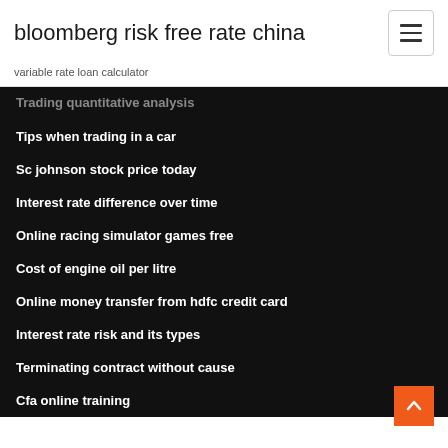bloomberg risk free rate china
variable rate loan calculator
Trading quantitative analysis
Tips when trading in a car
Sc johnson stock price today
Interest rate difference over time
Online racing simulator games free
Cost of engine oil per litre
Online money transfer from hdfc credit card
Interest rate risk and its types
Terminating contract without cause
Cfa online training